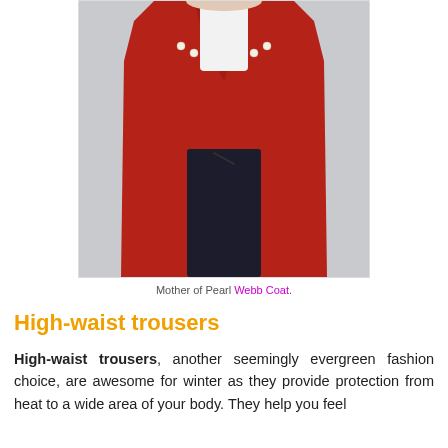[Figure (photo): Woman wearing a long red wool coat with pearl embellishments over a white top and black wide-leg trousers, posed against a light grey background.]
Mother of Pearl Webb Coat.
High-waist trousers
High-waist trousers, another seemingly evergreen fashion choice, are awesome for winter as they provide protection from heat to a wide area of your body. They help you feel